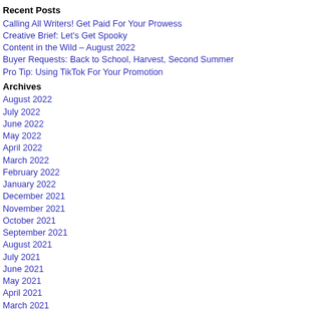Recent Posts
Calling All Writers! Get Paid For Your Prowess
Creative Brief: Let's Get Spooky
Content in the Wild – August 2022
Buyer Requests: Back to School, Harvest, Second Summer
Pro Tip: Using TikTok For Your Promotion
Archives
August 2022
July 2022
June 2022
May 2022
April 2022
March 2022
February 2022
January 2022
December 2021
November 2021
October 2021
September 2021
August 2021
July 2021
June 2021
May 2021
April 2021
March 2021
February 2021
January 2021
December 2020
November 2020
October 2020
September 2020
August 2020